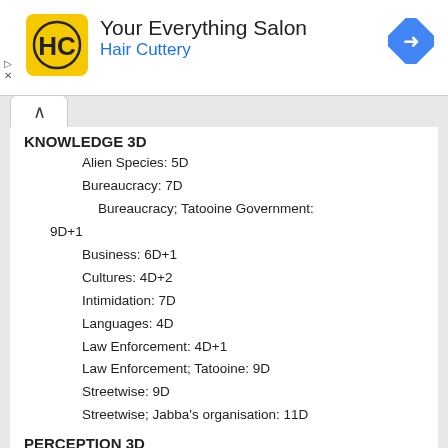[Figure (logo): Hair Cuttery ad banner with HC logo in yellow square, title 'Your Everything Salon', subtitle 'Hair Cuttery' in blue, and blue navigation diamond icon]
KNOWLEDGE 3D
Alien Species: 5D
Bureaucracy: 7D
Bureaucracy; Tatooine Government: 9D+1
Business: 6D+1
Cultures: 4D+2
Intimidation: 7D
Languages: 4D
Law Enforcement: 4D+1
Law Enforcement; Tatooine: 9D
Streetwise: 9D
Streetwise; Jabba's organisation: 11D
PERCEPTION 3D
Bargain: 8D